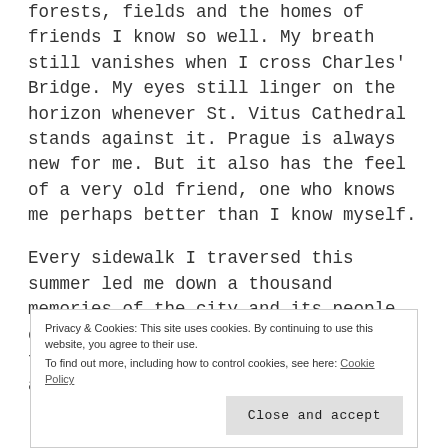forests, fields and the homes of friends I know so well. My breath still vanishes when I cross Charles' Bridge. My eyes still linger on the horizon whenever St. Vitus Cathedral stands against it. Prague is always new for me. But it also has the feel of a very old friend, one who knows me perhaps better than I know myself.
Every sidewalk I traversed this summer led me down a thousand memories of the city and its people, each in a different season. Every friend I visited refreshed my mind and loosened my tongue much like home.
Privacy & Cookies: This site uses cookies. By continuing to use this website, you agree to their use. To find out more, including how to control cookies, see here: Cookie Policy
Close and accept